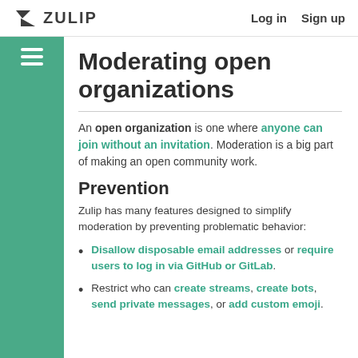ZULIP   Log in   Sign up
Moderating open organizations
An open organization is one where anyone can join without an invitation. Moderation is a big part of making an open community work.
Prevention
Zulip has many features designed to simplify moderation by preventing problematic behavior:
Disallow disposable email addresses or require users to log in via GitHub or GitLab.
Restrict who can create streams, create bots, send private messages, or add custom emoji.